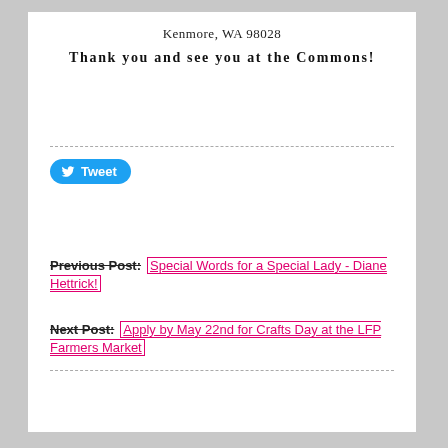Kenmore, WA 98028
Thank you and see you at the Commons!
[Figure (other): Twitter Tweet button with bird icon]
Previous Post: Special Words for a Special Lady - Diane Hettrick!
Next Post: Apply by May 22nd for Crafts Day at the LFP Farmers Market